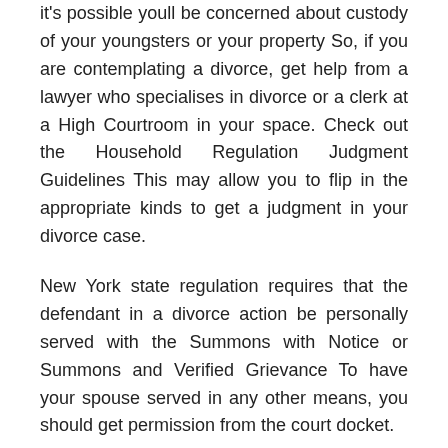it's possible youll be concerned about custody of your youngsters or your property So, if you are contemplating a divorce, get help from a lawyer who specialises in divorce or a clerk at a High Courtroom in your space. Check out the Household Regulation Judgment Guidelines This may allow you to flip in the appropriate kinds to get a judgment in your divorce case.
New York state regulation requires that the defendant in a divorce action be personally served with the Summons with Notice or Summons and Verified Grievance To have your spouse served in any other means, you should get permission from the court docket.